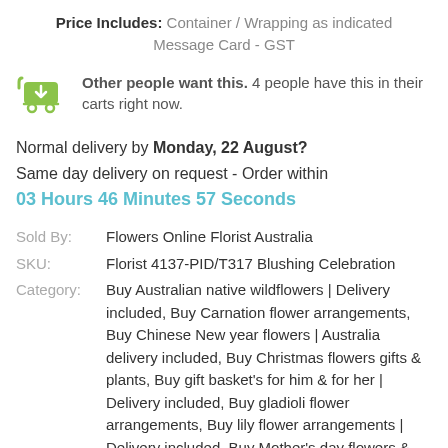Price Includes: Container / Wrapping as indicated Message Card - GST
Other people want this. 4 people have this in their carts right now.
Normal delivery by Monday, 22 August?
Same day delivery on request - Order within
03 Hours 46 Minutes 57 Seconds
Sold By: Flowers Online Florist Australia
SKU: Florist 4137-PID/T317 Blushing Celebration
Category: Buy Australian native wildflowers | Delivery included, Buy Carnation flower arrangements, Buy Chinese New year flowers | Australia delivery included, Buy Christmas flowers gifts & plants, Buy gift basket's for him & for her | Delivery included, Buy gladioli flower arrangements, Buy lily flower arrangements | Delivery included, Buy Mother's day flowers & gifts 'Delivery included', Buy